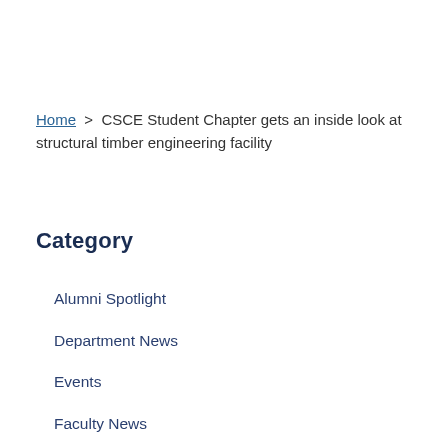Home > CSCE Student Chapter gets an inside look at structural timber engineering facility
Category
Alumni Spotlight
Department News
Events
Faculty News
Funding